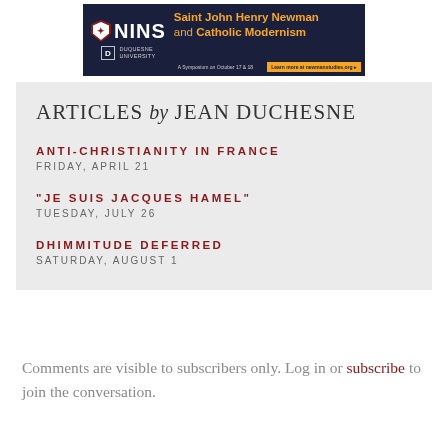[Figure (other): Banner advertisement for NINS (Saint John Henry Newman and Catholic Modernism) symposium at Duquesne University on October 17 & 18. Learn more at newmanstudies.org]
ARTICLES by JEAN DUCHESNE
ANTI-CHRISTIANITY IN FRANCE
FRIDAY, APRIL 21
“JE SUIS JACQUES HAMEL”
TUESDAY, JULY 26
DHIMMITUDE DEFERRED
SATURDAY, AUGUST 1
Comments are visible to subscribers only. Log in or subscribe to join the conversation.